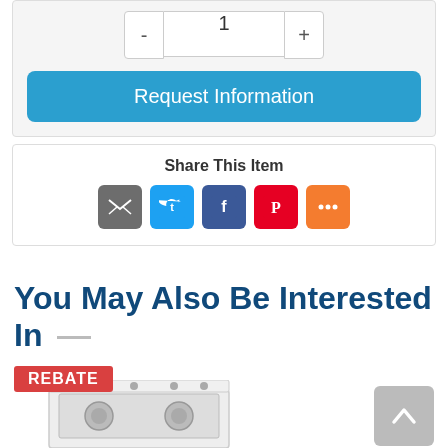[Figure (screenshot): Quantity selector with minus button, input field showing 1, and plus button]
Request Information
Share This Item
[Figure (infographic): Social sharing icons: Email (grey), Twitter (blue), Facebook (blue), Pinterest (red), More (orange)]
You May Also Be Interested In
[Figure (photo): Product image of a white electric range/stove with a REBATE badge overlay]